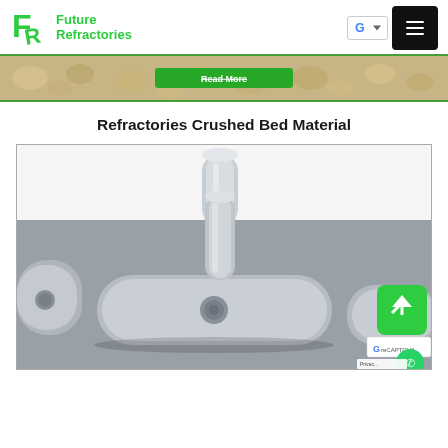[Figure (logo): Future Refractories company logo with stylized FR icon in green and company name]
[Figure (screenshot): Navigation bar with Google search box and hamburger menu button]
[Figure (photo): Crushed bed material banner image with a green Read More button partially visible]
Refractories Crushed Bed Material
[Figure (photo): Close-up photo of metallic refractory components including oval/oblong shaped pieces with holes and cylindrical pieces on a grey surface]